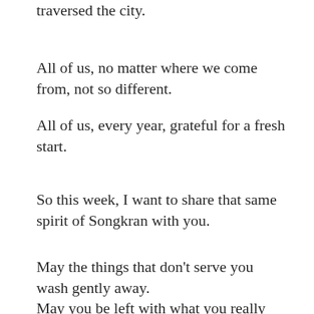traversed the city.
All of us, no matter where we come from, not so different.
All of us, every year, grateful for a fresh start.
So this week, I want to share that same spirit of Songkran with you.
May the things that don't serve you wash gently away.
May you be left with what you really love and